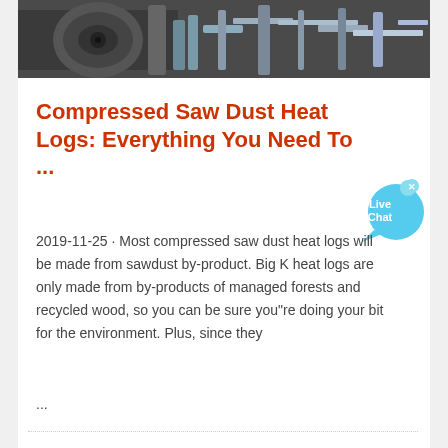[Figure (photo): Photograph of industrial machinery, partially visible at top of page]
Compressed Saw Dust Heat Logs: Everything You Need To ...
2019-11-25 · Most compressed saw dust heat logs will be made from sawdust by-product. Big K heat logs are only made from by-products of managed forests and recycled wood, so you can be sure you"re doing your bit for the environment. Plus, since they ...